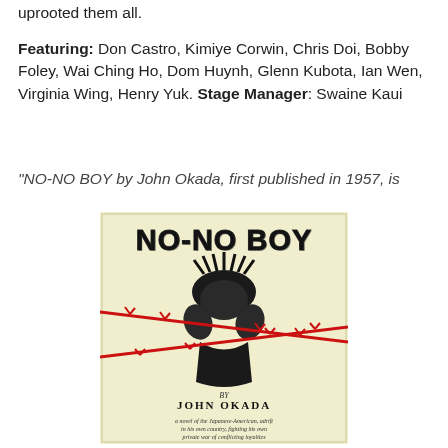uprooted them all.
Featuring: Don Castro, Kimiye Corwin, Chris Doi, Bobby Foley, Wai Ching Ho, Dom Huynh, Glenn Kubota, Ian Wen, Virginia Wing, Henry Yuk. Stage Manager: Swaine Kaui
“NO-NO BOY by John Okada, first published in 1957, is
[Figure (illustration): Book cover of 'No-No Boy' by John Okada. Yellow/cream background with bold black brush-lettered title 'NO-NO BOY' at top. Center illustration shows a figure with wild dark hair, hands raised to face, crossed by two red barbed wire strands. Bottom text reads 'BY JOHN OKADA' and subtitle 'a novel of the Japanese-American, adrift in his own country, fighting his own private war of conflicting loyalties'.]